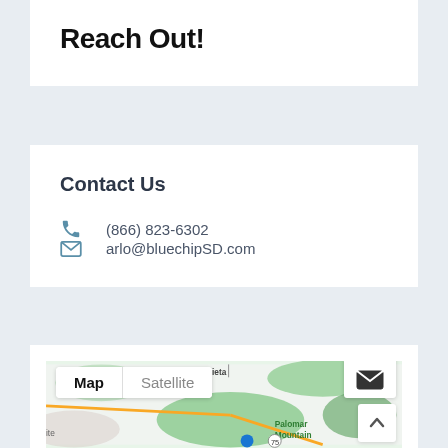Reach Out!
Contact Us
(866) 823-6302
arlo@bluechipSD.com
[Figure (map): Google Map showing Murrieta and Palomar Mountain area with Map/Satellite toggle buttons and a scroll-to-top arrow button. A small email popup icon is visible.]